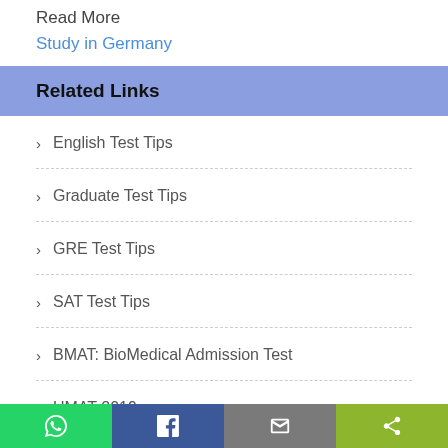Read More
Study in Germany
Related Links
English Test Tips
Graduate Test Tips
GRE Test Tips
SAT Test Tips
BMAT: BioMedical Admission Test
UMAT 2019
GAMSAT